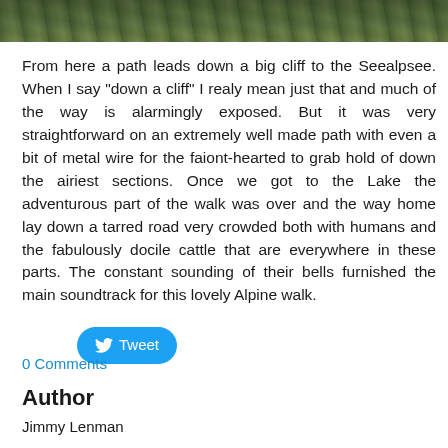[Figure (photo): Partial photograph of a mountainous trail with green vegetation and rocky cliffs, cropped at top of page]
From here a path leads down a big cliff to the Seealpsee. When I say "down a cliff" I realy mean just that and much of the way is alarmingly exposed. But it was very straightforward on an extremely well made path with even a bit of metal wire for the faiont-hearted to grab hold of down the airiest sections. Once we got to the Lake the adventurous part of the walk was over and the way home lay down a tarred road very crowded both with humans and the fabulously docile cattle that are everywhere in these parts. The constant sounding of their bells furnished the main soundtrack for this lovely Alpine walk.
[Figure (other): Tweet button with Twitter bird icon]
0 Comments
Author
Jimmy Lenman